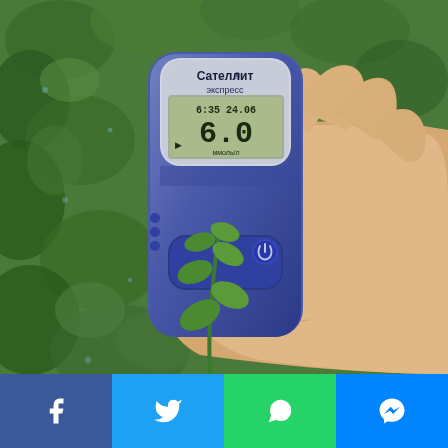[Figure (photo): A hand holding a 'Сателлит® экспресс' (Satellite Express) blood glucose meter/glucometer against a green leafy plant background. The device screen displays the reading '6.0 ммоль/л' (6.0 mmol/L) with a timestamp '6:35 24.06'. A small green plant sprout is visible in front of the device.]
[Figure (infographic): Social media sharing bar at the bottom with four buttons: Facebook (blue, f icon), Twitter (light blue, bird icon), WhatsApp (green, phone icon), Messenger (blue, lightning bolt icon).]